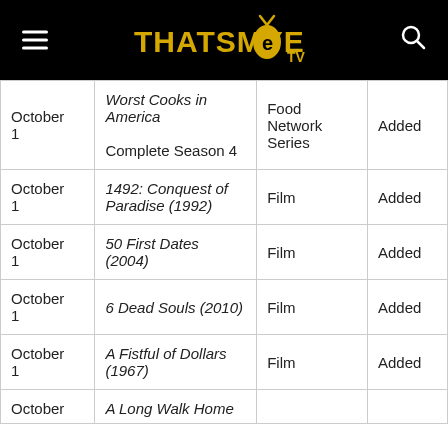THATSMYE TV
| October 1 | Worst Cooks in America Complete Season 4 | Food Network Series | Added |
| October 1 | 1492: Conquest of Paradise (1992) | Film | Added |
| October 1 | 50 First Dates (2004) | Film | Added |
| October 1 | 6 Dead Souls (2010) | Film | Added |
| October 1 | A Fistful of Dollars (1967) | Film | Added |
| October | A Long Walk Home |  |  |